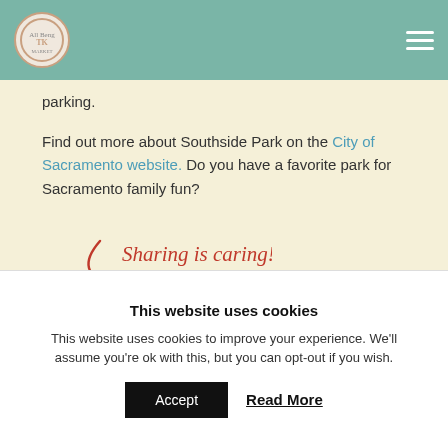Nav header with logo and hamburger menu
parking.
Find out more about Southside Park on the City of Sacramento website. Do you have a favorite park for Sacramento family fun?
[Figure (infographic): Sharing is caring! with social media icons: Facebook, Twitter, Pinterest (142), Tumblr, Google+]
This website uses cookies
This website uses cookies to improve your experience. We'll assume you're ok with this, but you can opt-out if you wish.
Accept  Read More